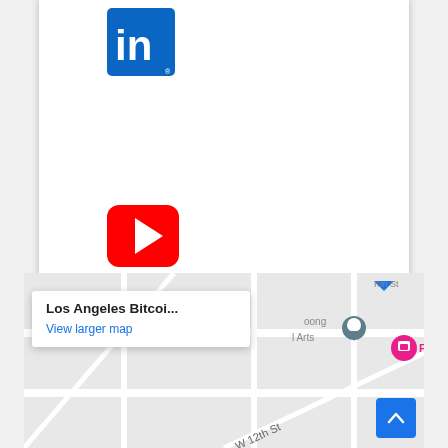[Figure (logo): LinkedIn logo — blue square with white 'in' text]
[Figure (logo): YouTube logo — red rounded rectangle with white play button]
[Figure (logo): Twitter logo — blue rounded rectangle with white bird icon]
[Figure (map): Google Maps embed showing Los Angeles Bitcoin location with popup 'Los Angeles Bitcoi...' and 'View larger map' link, with Friends hotel pin and map roads including W 12th St]